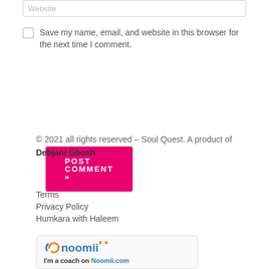Website
Save my name, email, and website in this browser for the next time I comment.
POST COMMENT »
© 2021 all rights reserved – Soul Quest. A product of Debjani Ghosh.
Terms
Privacy Policy
Humkara with Haleem
[Figure (logo): Noomii logo with text 'I'm a coach on Noomii.com']